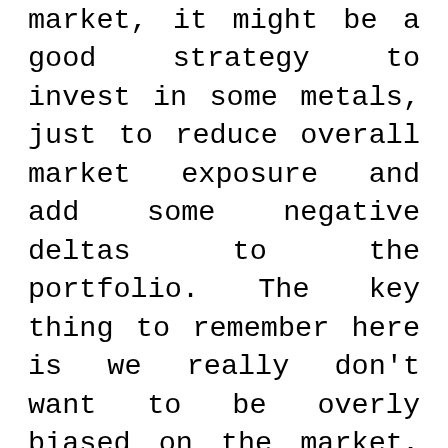market, it might be a good strategy to invest in some metals, just to reduce overall market exposure and add some negative deltas to the portfolio. The key thing to remember here is we really don't want to be overly biased on the market, one way or another.
And when we are only long stock, as many passive investors are, we are HEAVILY biased to up-moves. And that's no fun when the market dips. It's best to remain relatively delta-neutral, so a large move up or down won't wipe you out.